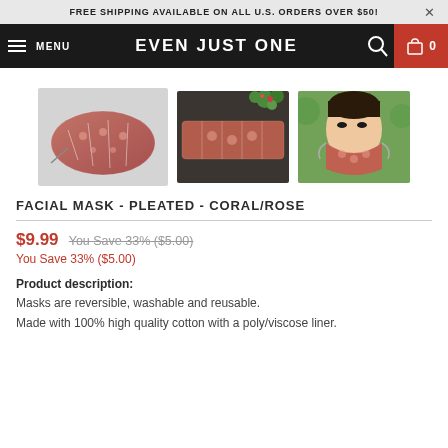FREE SHIPPING AVAILABLE ON ALL U.S. ORDERS OVER $50!
MENU  EVEN JUST ONE  0
[Figure (photo): Three product photos of a coral/rose patterned pleated facial mask: left shows the mask folded, center shows it laid flat on a dark surface with flowers, right shows a woman wearing the mask outdoors.]
FACIAL MASK - PLEATED - CORAL/ROSE
$9.99 You Save 33% ($5.00)
You Save 33% ($5.00)
Product description:
Masks are reversible, washable and reusable.
Made with 100% high quality cotton with a poly/viscose liner.